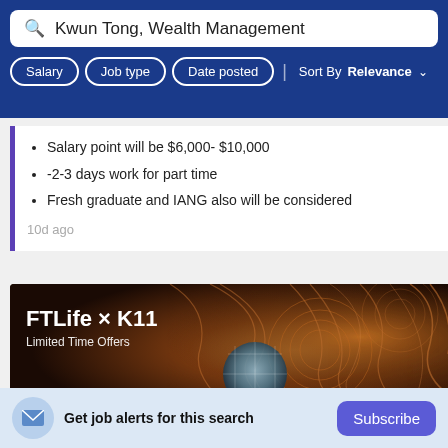Kwun Tong, Wealth Management
Salary — Job type — Date posted — Sort By Relevance
Salary point will be $6,000- $10,000
-2-3 days work for part time
Fresh graduate and IANG also will be considered
10d ago
[Figure (illustration): FTLife x K11 Limited Time Offers promotional banner with decorative copper/bronze abstract art background]
Get job alerts for this search
Subscribe